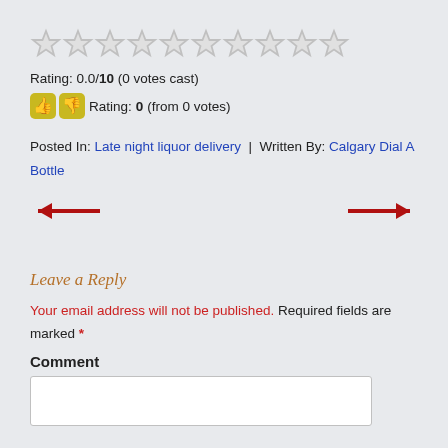[Figure (other): 10 empty star rating icons in a row]
Rating: 0.0/10 (0 votes cast)
👍👎 Rating: 0 (from 0 votes)
Posted In: Late night liquor delivery | Written By: Calgary Dial A Bottle
[Figure (other): Left arrow (red) and right arrow (red) navigation icons]
Leave a Reply
Your email address will not be published. Required fields are marked *
Comment